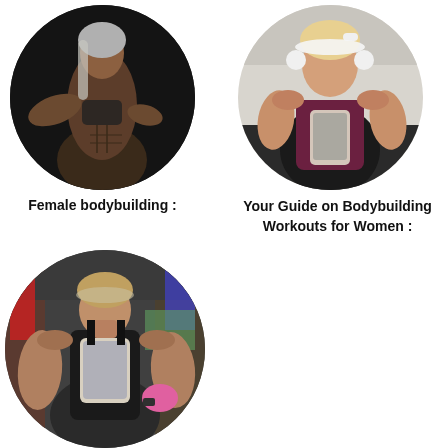[Figure (photo): Circular cropped photo of a muscular woman in a sports bra posing in a gym, dark background, long gray-highlighted hair]
[Figure (photo): Circular cropped photo of a blonde muscular woman in a maroon tank top taking a mirror selfie with headphones on]
Female bodybuilding :
Your Guide on Bodybuilding Workouts for Women :
[Figure (photo): Circular cropped photo of a muscular woman in a black tank top taking a selfie in a gym, colorful gym equipment visible in background]